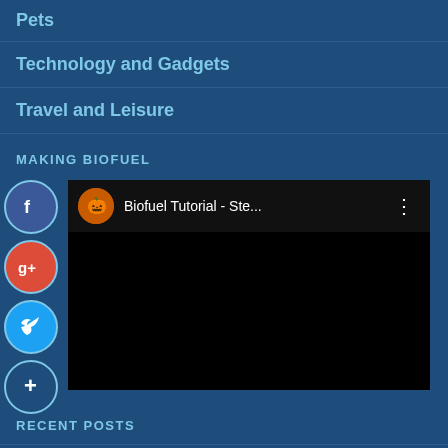Pets
Technology and Gadgets
Travel and Leisure
MAKING BIOFUEL
[Figure (screenshot): Embedded video thumbnail showing 'Biofuel Tutorial - Ste...' with avatar icon and three-dot menu]
RECENT POSTS
When does...